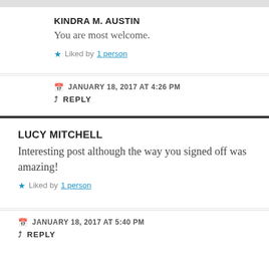KINDRA M. AUSTIN
You are most welcome.
Liked by 1 person
JANUARY 18, 2017 AT 4:26 PM
REPLY
LUCY MITCHELL
Interesting post although the way you signed off was amazing!
Liked by 1 person
JANUARY 18, 2017 AT 5:40 PM
REPLY